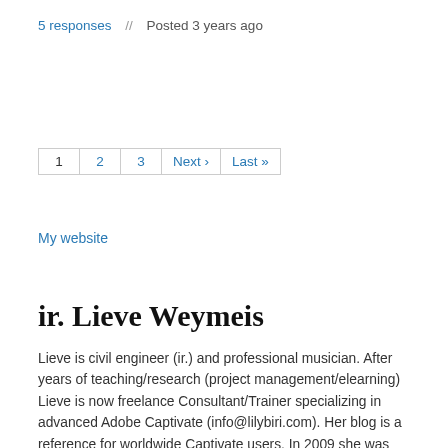5 responses  //  Posted 3 years ago
1  2  3  Next ›  Last »
My website
ir. Lieve Weymeis
Lieve is civil engineer (ir.) and professional musician. After years of teaching/research (project management/elearning) Lieve is now freelance Consultant/Trainer specializing in advanced Adobe Captivate (info@lilybiri.com). Her blog is a reference for worldwide Captivate users. In 2009 she was invited to the Advisory Board for Captivate. As an Adobe Certified Expert, Adobe Community Professional and Adobe Education Leader Lieve has presented about Captivate and Flipped classes, both online and face-to-face